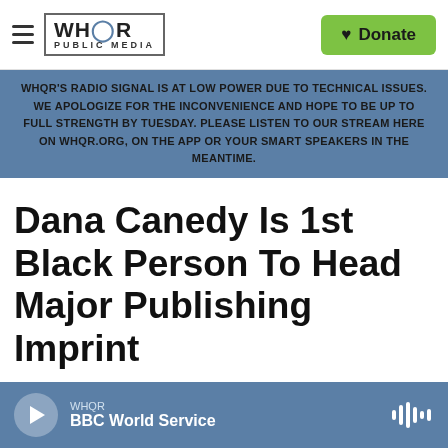[Figure (logo): WHQR Public Media logo with hamburger menu icon and Donate button]
WHQR'S RADIO SIGNAL IS AT LOW POWER DUE TO TECHNICAL ISSUES. WE APOLOGIZE FOR THE INCONVENIENCE AND HOPE TO BE UP TO FULL STRENGTH BY TUESDAY. PLEASE LISTEN TO OUR STREAM HERE ON WHQR.ORG, ON THE APP OR YOUR SMART SPEAKERS IN THE MEANTIME.
Dana Canedy Is 1st Black Person To Head Major Publishing Imprint
WHQR
BBC World Service